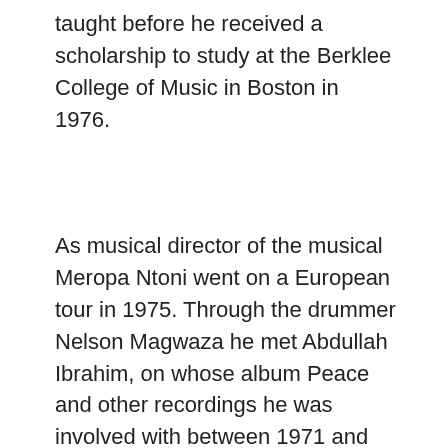taught before he received a scholarship to study at the Berklee College of Music in Boston in 1976.
As musical director of the musical Meropa Ntoni went on a European tour in 1975. Through the drummer Nelson Magwaza he met Abdullah Ibrahim, on whose album Peace and other recordings he was involved with between 1971 and 1979. He formed a sextet with Kippie Moeketsi, before going to study at Berklee School of Music, and played with Dudu Pukwana in 1978 (Diamond Express) and in 1979 with Hugh Masekela, also